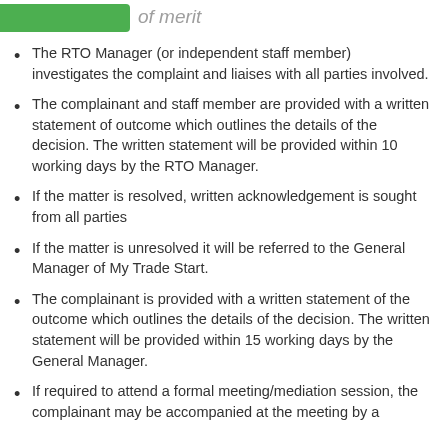of merit
The RTO Manager (or independent staff member) investigates the complaint and liaises with all parties involved.
The complainant and staff member are provided with a written statement of outcome which outlines the details of the decision. The written statement will be provided within 10 working days by the RTO Manager.
If the matter is resolved, written acknowledgement is sought from all parties
If the matter is unresolved it will be referred to the General Manager of My Trade Start.
The complainant is provided with a written statement of the outcome which outlines the details of the decision. The written statement will be provided within 15 working days by the General Manager.
If required to attend a formal meeting/mediation session, the complainant may be accompanied at the meeting by a